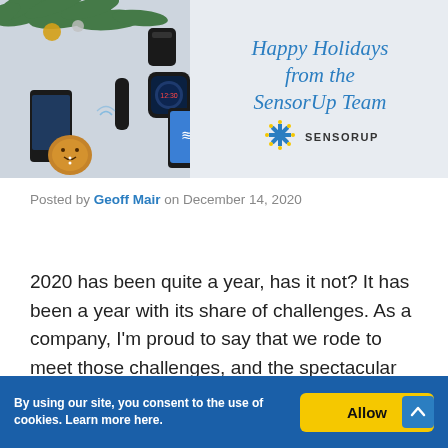[Figure (photo): Happy Holidays banner from the SensorUp Team showing IoT/tech devices (smartphone, smartwatch, remote, camera, tablet) scattered with Christmas tree branches and a gingerbread cookie on the left side, and the holiday greeting text with SensorUp logo on the right side.]
Posted by Geoff Mair on December 14, 2020
2020 has been quite a year, has it not? It has been a year with its share of challenges. As a company, I'm proud to say that we rode to meet those challenges, and the spectacular
By using our site, you consent to the use of cookies. Learn more here.